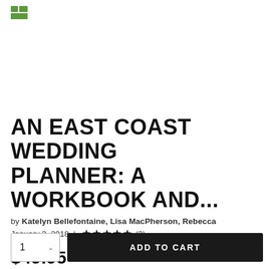[Figure (logo): Small green logo/icon in top left corner]
AN EAST COAST WEDDING PLANNER: A WORKBOOK AND...
by Katelyn Bellefontaine, Lisa MacPherson, Rebecca
January 3, 2018 | ★★★★★ (3)
$49.95 | WIRE COIL/WIRE COMBINATION
Earn 250 plum® points